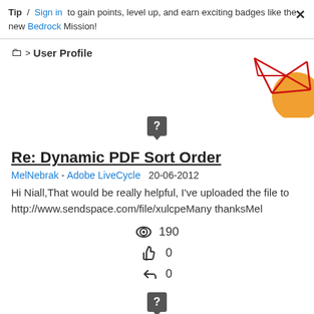Tip / Sign in to gain points, level up, and earn exciting badges like the new Bedrock Mission! ×
🗀 > User Profile
[Figure (illustration): Decorative geometric red lines and orange shape in the upper right corner]
[Figure (illustration): Gray question mark icon in a box with speech bubble tail]
Re: Dynamic PDF Sort Order
MelNebrak - Adobe LiveCycle  20-06-2012
Hi Niall,That would be really helpful, I've uploaded the file to http://www.sendspace.com/file/xulcpeMany thanksMel
👁 190
👍 0
↩ 0
[Figure (illustration): Gray question mark icon in a box with speech bubble tail at bottom]